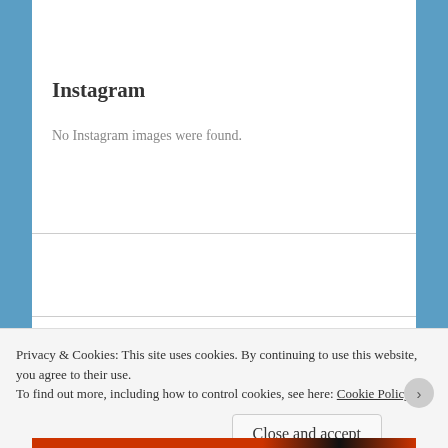Instagram
No Instagram images were found.
[Figure (other): WordPress Follow button: 'Follow 2 Things @ Once']
Privacy & Cookies: This site uses cookies. By continuing to use this website, you agree to their use.
To find out more, including how to control cookies, see here: Cookie Policy
Close and accept